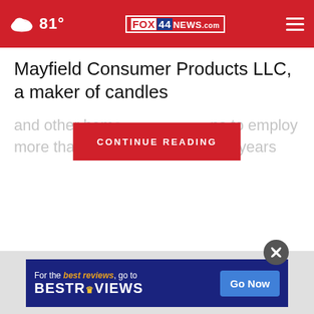81° FOX 44 NEWS.com
Mayfield Consumer Products LLC, a maker of candles
and other hom… ns to employ more than 500… t five years
CONTINUE READING
[Figure (other): Advertisement banner for BestReviews with 'Go Now' button on dark blue background]